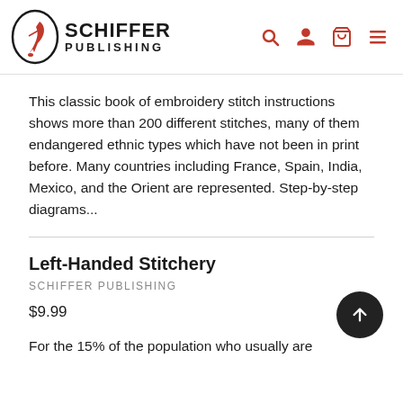[Figure (logo): Schiffer Publishing logo with oval emblem containing a quill/scissors icon and bold text SCHIFFER PUBLISHING]
This classic book of embroidery stitch instructions shows more than 200 different stitches, many of them endangered ethnic types which have not been in print before. Many countries including France, Spain, India, Mexico, and the Orient are represented. Step-by-step diagrams...
Left-Handed Stitchery
SCHIFFER PUBLISHING
$9.99
For the 15% of the population who usually are